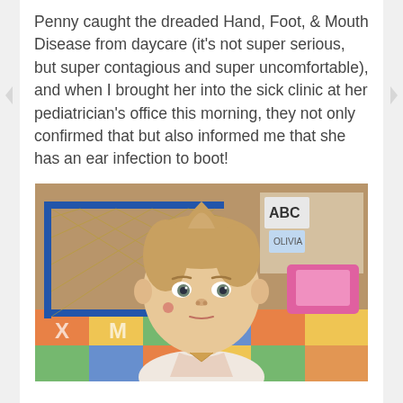Penny caught the dreaded Hand, Foot, & Mouth Disease from daycare (it's not super serious, but super contagious and super uncomfortable), and when I brought her into the sick clinic at her pediatrician's office this morning, they not only confirmed that but also informed me that she has an ear infection to boot!
[Figure (photo): A baby/toddler with wispy light brown hair sitting on a colorful alphabet play mat on the floor, looking straight at the camera with a somewhat unhappy expression. In the background are blue safety gates with diamond mesh pattern and shelves with ABC books and colorful toys including pink items. The child appears to have a small red mark (possibly a rash) on one cheek.]